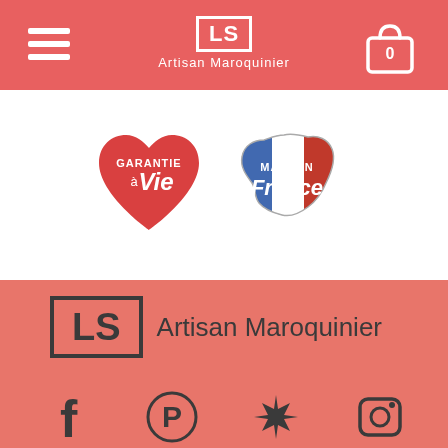[Figure (screenshot): Website header with salmon/coral background, hamburger menu icon on left, LS Artisan Maroquinier logo in center, shopping cart icon with 0 on right]
[Figure (logo): Garantie à Vie heart badge (red heart with text) and Made in France map badge (French flag colors) on white background]
[Figure (logo): LS Artisan Maroquinier brand logo on coral/salmon background - LS in rectangle box with script text]
[Figure (infographic): Social media icons row: Facebook, Pinterest, Yelp, Instagram on coral/salmon background]